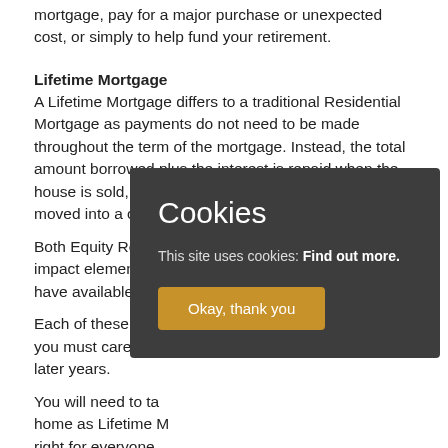mortgage, pay for a major purchase or unexpected cost, or simply to help fund your retirement.
Lifetime Mortgage
A Lifetime Mortgage differs to a traditional Residential Mortgage as payments do not need to be made throughout the term of the mortgage. Instead, the total amount borrowed plus the interest is repaid when the house is sold, which is usually after the borrowers have moved into a care home or passed away.
Both Equity Release and Lifetime Mortgages will impact elements such as how much inheritance you have available to pass on, eligibility for state
Each of these borr you must carefully later years.
You will need to ta home as Lifetime M right for everyone
[Figure (screenshot): Cookie consent overlay with dark background showing title 'Cookies', body text 'This site uses cookies: Find out more.' and an 'Okay, thank you' button in golden/amber color.]